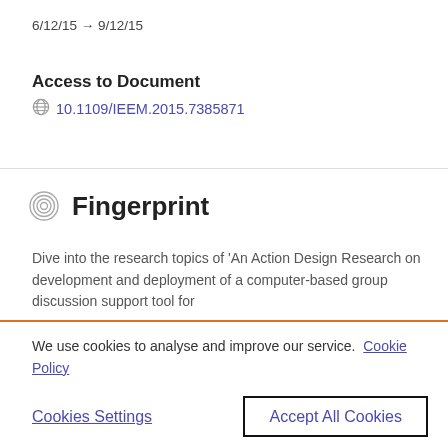6/12/15 → 9/12/15
Access to Document
10.1109/IEEM.2015.7385871
Fingerprint
Dive into the research topics of 'An Action Design Research on development and deployment of a computer-based group discussion support tool for
We use cookies to analyse and improve our service. Cookie Policy
Cookies Settings
Accept All Cookies